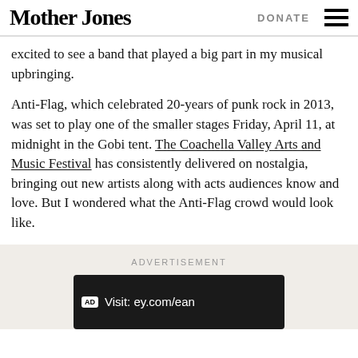Mother Jones | DONATE
excited to see a band that played a big part in my musical upbringing.
Anti-Flag, which celebrated 20-years of punk rock in 2013, was set to play one of the smaller stages Friday, April 11, at midnight in the Gobi tent. The Coachella Valley Arts and Music Festival has consistently delivered on nostalgia, bringing out new artists along with acts audiences know and love. But I wondered what the Anti-Flag crowd would look like.
ADVERTISEMENT
[Figure (other): Advertisement banner showing text 'Visit: ey.com/ean' with AD badge on dark background]